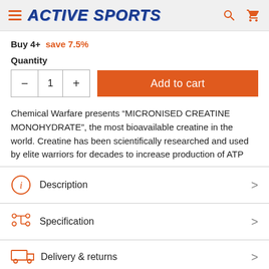ACTIVE SPORTS
Buy 4+  save 7.5%
Quantity
1
Add to cart
Chemical Warfare presents “MICRONISED CREATINE MONOHYDRATE”, the most bioavailable creatine in the world. Creatine has been scientifically researched and used by elite warriors for decades to increase production of ATP
Description
Specification
Delivery & returns